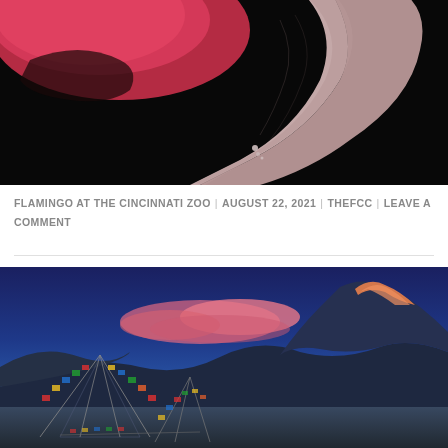[Figure (photo): Close-up photograph of a flamingo head and neck against a black background. The flamingo's pink beak and grey-pink neck are prominently visible with water droplets.]
FLAMINGO AT THE CINCINNATI ZOO | AUGUST 22, 2021 | THEFCC | LEAVE A COMMENT
[Figure (photo): Landscape photograph of a mountain at dusk or dawn with a deep blue sky and pink clouds. In the foreground are colorful prayer flags arranged in tent-like structures. A snow-capped mountain peak is lit with warm orange-pink light on the right side.]